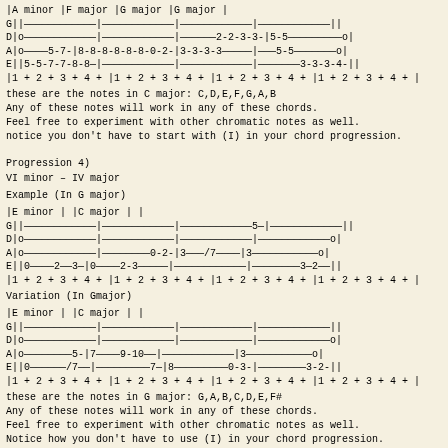[Figure (other): Guitar tablature showing chord progression with A minor, F major, G major, G major chords]
these are the notes in C major: C,D,E,F,G,A,B
Any of these notes will work in any of these chords.
Feel free to experiment with other chromatic notes as well.
notice you don't have to start with (I) in your chord progression.
Progression 4)
VI minor – IV major
Example (In G major)
[Figure (other): Guitar tablature showing E minor and C major chord progression example in G major]
Variation (In Gmajor)
[Figure (other): Guitar tablature showing E minor and C major chord progression variation in G major]
these are the notes in G major: G,A,B,C,D,E,F#
Any of these notes will work in any of these chords.
Feel free to experiment with other chromatic notes as well.
Notice how you don't have to use (I) in your chord progression.
Progression 5)
VI minor – II minor – IV Major – II Major